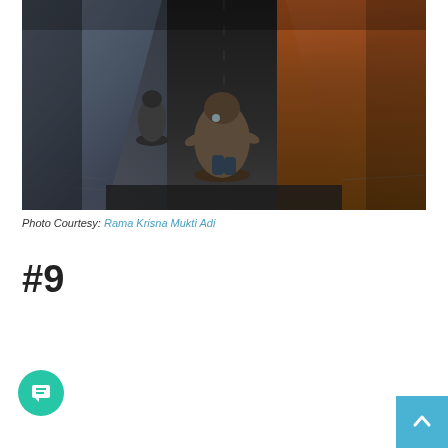[Figure (photo): Action photo of skateboarders riding down a road at high speed, taken from a low angle behind the main rider. The background shows autumn-colored foliage on one side and a bridge/wall structure on the other. Shot in a dramatic wide-angle perspective.]
Photo Courtesy: Rama Krisna Mukti Adi
#9